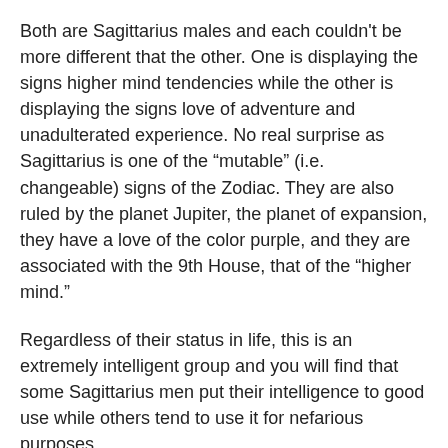Both are Sagittarius males and each couldn't be more different that the other. One is displaying the signs higher mind tendencies while the other is displaying the signs love of adventure and unadulterated experience. No real surprise as Sagittarius is one of the “mutable” (i.e. changeable) signs of the Zodiac. They are also ruled by the planet Jupiter, the planet of expansion, they have a love of the color purple, and they are associated with the 9th House, that of the “higher mind.”
Regardless of their status in life, this is an extremely intelligent group and you will find that some Sagittarius men put their intelligence to good use while others tend to use it for nefarious purposes.
An example of a cunning Sagittarius man putting his intelligence to use in nefarious ways would be Ted Bundy, the serial killer. He used his intelligence and charm to disarm women and ultimately turn them into unsuspecting victims that experienced horrific acts of violence and sadism at his hands.